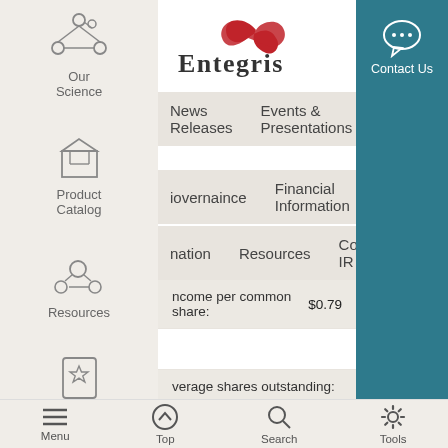[Figure (logo): Entegris company logo with red infinity-loop icon and dark serif text]
News Releases   Events & Presentations
Governance   Financial Information
nation   Resources   Contact IR
|  |  |
| --- | --- |
| ncome per common share: | $0.79 |
| verage shares outstanding: |  |
|  | 141,627 |
|  | 143,472 |
Our Science
Product Catalog
Resources
Contact Us